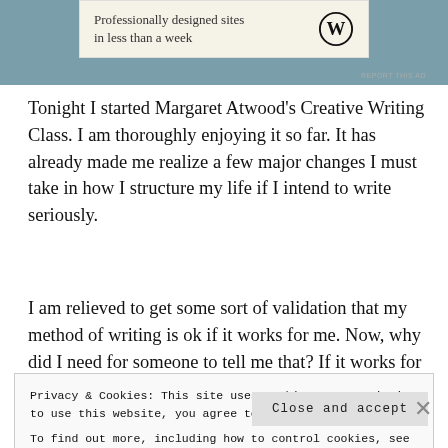[Figure (other): WordPress advertisement banner: 'Professionally designed sites in less than a week' with WordPress logo]
Tonight I started Margaret Atwood's Creative Writing Class. I am thoroughly enjoying it so far. It has already made me realize a few major changes I must take in how I structure my life if I intend to write seriously.
I am relieved to get some sort of validation that my method of writing is ok if it works for me. Now, why did I need for someone to tell me that? If it works for me, it works for me.
Privacy & Cookies: This site uses cookies. By continuing to use this website, you agree to their use.
To find out more, including how to control cookies, see here: Cookie Policy
Close and accept